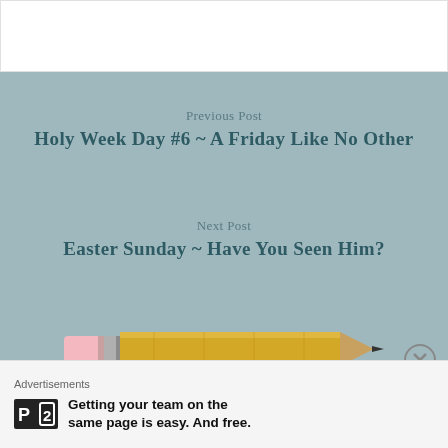Previous Post
Holy Week Day #6 ~ A Friday Like No Other
Next Post
Easter Sunday ~ Have You Seen Him?
[Figure (illustration): Illustration of a yellow pencil with pink eraser on the left and pointed tip on the right, on a slate-blue background]
One thought on “Holy Week Day #7 ~ Sabbath Sorrow”
Advertisements
Getting your team on the same page is easy. And free.